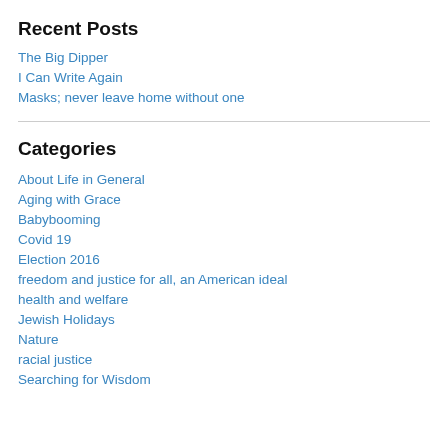Recent Posts
The Big Dipper
I Can Write Again
Masks; never leave home without one
Categories
About Life in General
Aging with Grace
Babybooming
Covid 19
Election 2016
freedom and justice for all, an American ideal
health and welfare
Jewish Holidays
Nature
racial justice
Searching for Wisdom